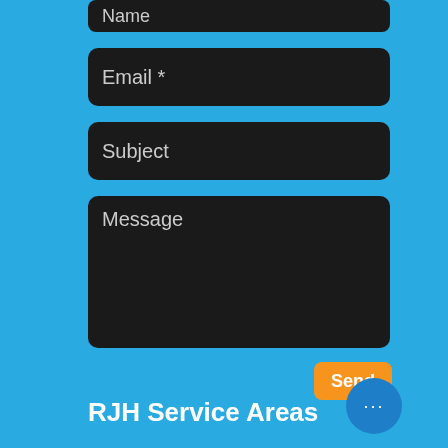[Figure (screenshot): Contact form UI on blue background with dark input fields for Name (partially visible), Email *, Subject, and Message, an orange Send button, a blue circular more-options button, and 'RJH Service Areas' footer text.]
Name
Email *
Subject
Message
Send
RJH Service Areas
...